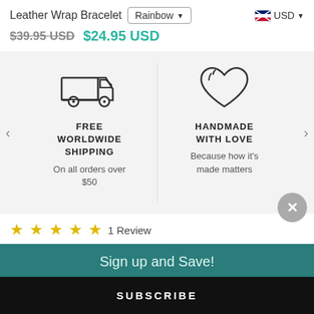Leather Wrap Bracelet
Rainbow (dropdown)
USD (currency dropdown)
$39.95 USD $24.95 USD
[Figure (illustration): Feature carousel with two items: (1) truck icon with text FREE WORLDWIDE SHIPPING - On all orders over $50; (2) heart icon with text HANDMADE WITH LOVE - Because how it's made matters]
★★★★★ 1 Review
Sign up and Save!
SUBSCRIBE